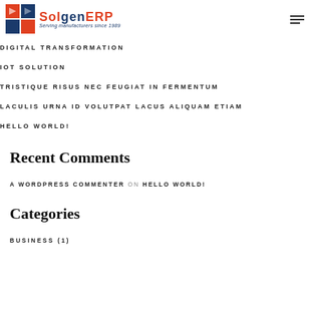[Figure (logo): SolgenERP logo with orange and blue blocks icon, text 'SolgenERP' and tagline 'Serving manufacturers since 1989']
DIGITAL TRANSFORMATION
IOT SOLUTION
TRISTIQUE RISUS NEC FEUGIAT IN FERMENTUM
LACULIS URNA ID VOLUTPAT LACUS ALIQUAM ETIAM
HELLO WORLD!
Recent Comments
A WORDPRESS COMMENTER ON HELLO WORLD!
Categories
BUSINESS (1)